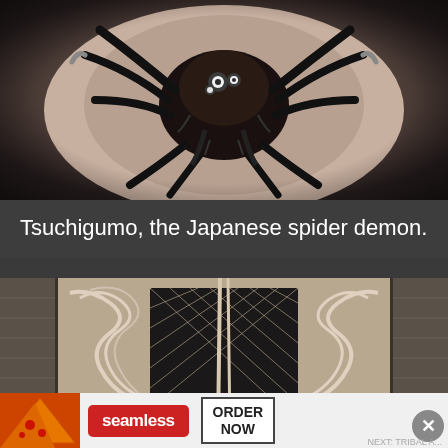[Figure (photo): Close-up photo of a large tattoo of Tsuchigumo, the Japanese spider demon, on a person's back/head. The tattoo shows a large dark spider creature with multiple legs, claws, and a face with circular eyes, done in black ink on skin.]
Tsuchigumo, the Japanese spider demon.
[Figure (photo): Photo of a person's heavily tattooed back showing intricate Japanese traditional tattoo designs including wind/wave spiral patterns in black ink and a geometric diamond/scale pattern in the center, with a cityscape in the background.]
[Figure (photo): Advertisement banner for Seamless food ordering service showing pizza slices on the left, a red Seamless logo button in the center, and an ORDER NOW button on the right.]